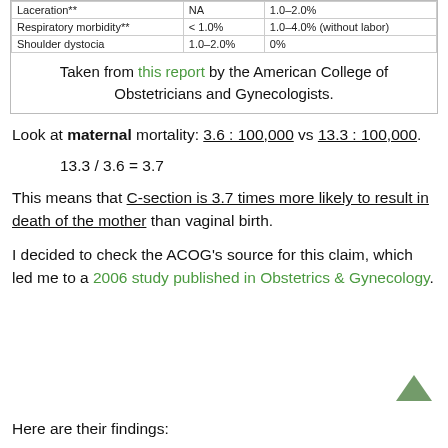|  |  |  |
| --- | --- | --- |
| Laceration** | NA | 1.0–2.0% |
| Respiratory morbidity** | < 1.0% | 1.0–4.0% (without labor) |
| Shoulder dystocia | 1.0–2.0% | 0% |
Taken from this report by the American College of Obstetricians and Gynecologists.
Look at maternal mortality: 3.6 : 100,000 vs 13.3 : 100,000.
This means that C-section is 3.7 times more likely to result in death of the mother than vaginal birth.
I decided to check the ACOG's source for this claim, which led me to a 2006 study published in Obstetrics & Gynecology.
Here are their findings: